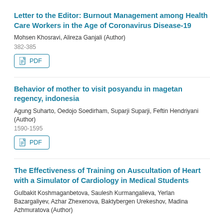Letter to the Editor: Burnout Management among Health Care Workers in the Age of Coronavirus Disease-19
Mohsen Khosravi, Alireza Ganjali (Author)
382-385
[Figure (other): PDF download button]
Behavior of mother to visit posyandu in magetan regency, indonesia
Agung Suharto, Oedojo Soedirham, Suparji Suparji, Feftin Hendriyani (Author)
1590-1595
[Figure (other): PDF download button]
The Effectiveness of Training on Auscultation of Heart with a Simulator of Cardiology in Medical Students
Gulbakit Koshmaganbetova, Saulesh Kurmangalieva, Yerlan Bazargaliyev, Azhar Zhexenova, Baktybergen Urekeshov, Madina Azhmuratova (Author)